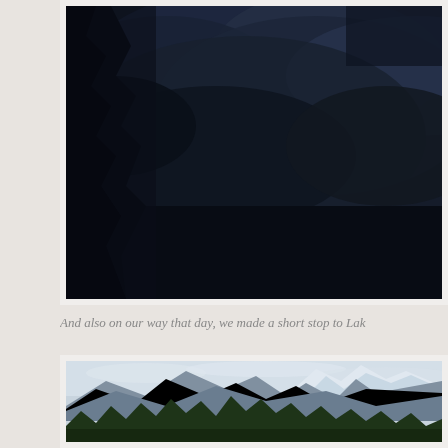[Figure (photo): Dark stormy sky with heavy clouds and tree silhouettes visible on the left side. Very dark, dramatic night or storm scene.]
And also on our way that day, we made a short stop to Lak
[Figure (photo): Mountain landscape with snow-capped peaks visible on the right, blue-grey mountains in the middle ground, and dark evergreen forest trees in the foreground. Overcast sky.]